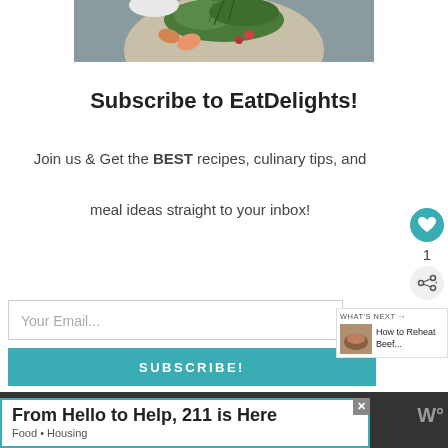[Figure (photo): Partial view of a food photo showing a bowl with shrimp, greens/microgreens, and salad on a ceramic plate]
Subscribe to EatDelights!
Join us & Get the BEST recipes, culinary tips, and meal ideas straight to your inbox!
Your Email...
SUBSCRIBE!
From Hello to Help, 211 is Here
Food • Housing
WHAT'S NEXT → How to Reheat Beef...
1